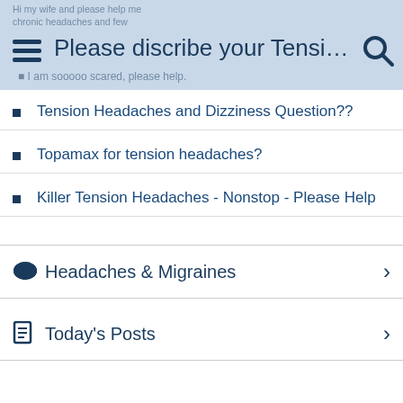Please discribe your Tension H...
Tension Headaches and Dizziness Question??
Topamax for tension headaches?
Killer Tension Headaches - Nonstop - Please Help
Headaches & Migraines
Today's Posts